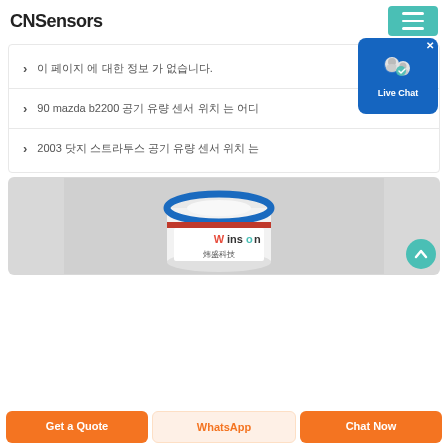CNSensors
이 페이지 에 대한 정보 가 없습니다.
90 mazda b2200 공기 유량 센서 위치 는 어디
2003 닷지 스트라투스 공기 유량 센서 위치 는
[Figure (photo): Winson brand gas sensor canister with blue and red rings on top, white cylindrical body with Winson logo and Chinese text (炜盛科技), photographed on gray background]
Get a Quote | WhatsApp | Chat Now